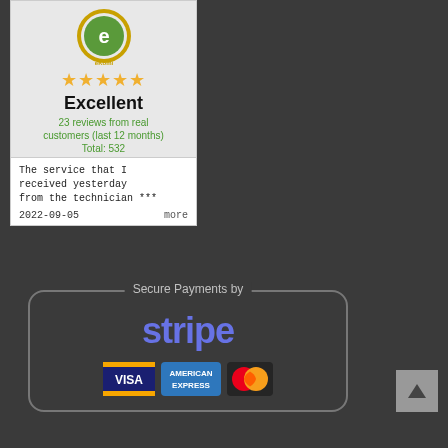[Figure (illustration): eKomi review widget showing gold seal badge, 5 stars, Excellent rating, 23 reviews from real customers (last 12 months), Total: 532, with a review snippet and date 2022-09-05]
[Figure (logo): Secure Payments by Stripe badge with Visa, American Express, and Mastercard icons inside a rounded border]